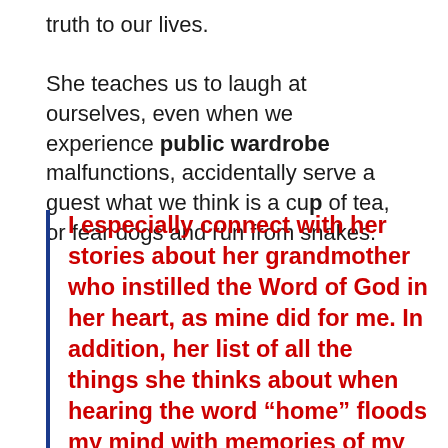truth to our lives.

She teaches us to laugh at ourselves, even when we experience public wardrobe malfunctions, accidentally serve a guest what we think is a cup of tea, or fear dogs and run from snakes.
I especially connect with her stories about her grandmother who instilled the Word of God in her heart, as mine did for me. In addition, her list of all the things she thinks about when hearing the word “home” floods my mind with memories of my childhood and simpler times